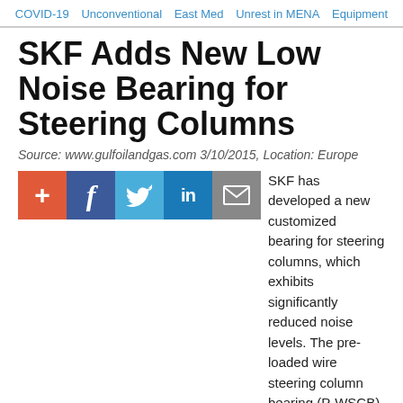COVID-19   Unconventional   East Med   Unrest in MENA   Equipment
SKF Adds New Low Noise Bearing for Steering Columns
Source: www.gulfoilandgas.com 3/10/2015, Location: Europe
[Figure (other): Social sharing icons: plus/add (orange), Facebook (dark blue), Twitter (light blue), LinkedIn (blue), email/envelope (grey)]
SKF has developed a new customized bearing for steering columns, which exhibits significantly reduced noise levels. The pre-loaded wire steering column bearing (P-WSCB) is aimed at Tier One automotive manufacturers, and will help them to meet the low-noise specifications of original equipment manufacturers (OEMs).
Noise reduction of vehicle sub-systems is currently a major trend in automotive manufacture. This is because quieter engines – particularly in electric or hybrid cars – no longer mask the sound from sub-systems such as steering, transmission and